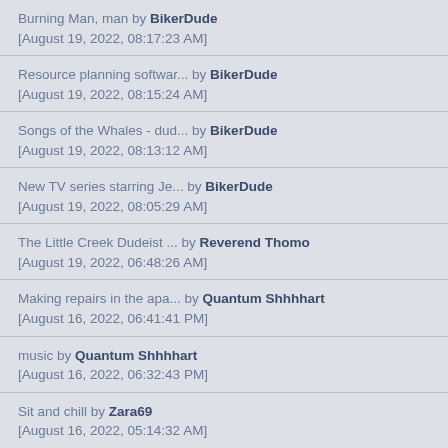Burning Man, man by BikerDude [August 19, 2022, 08:17:23 AM]
Resource planning softwar... by BikerDude [August 19, 2022, 08:15:24 AM]
Songs of the Whales - dud... by BikerDude [August 19, 2022, 08:13:12 AM]
New TV series starring Je... by BikerDude [August 19, 2022, 08:05:29 AM]
The Little Creek Dudeist ... by Reverend Thomo [August 19, 2022, 06:48:26 AM]
Making repairs in the apa... by Quantum Shhhhart [August 16, 2022, 06:41:41 PM]
music by Quantum Shhhhart [August 16, 2022, 06:32:43 PM]
Sit and chill by Zara69 [August 16, 2022, 05:14:32 AM]
Are there other Dudely sp... by AugustBlack [August 16, 2022, 02:24:29 AM]
Marijuana question. by PaulKohen [August 14, 2022, 11:52:02 AM]